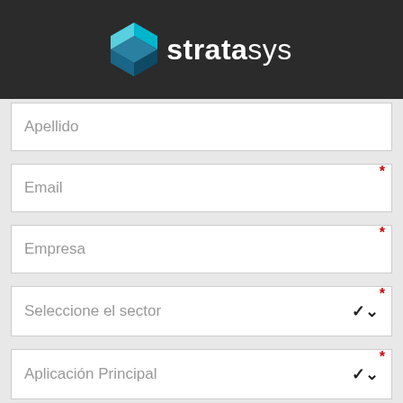[Figure (logo): Stratasys logo with teal/blue diamond S shape on dark background]
Apellido
Email
Empresa
Seleccione el sector
Aplicación Principal